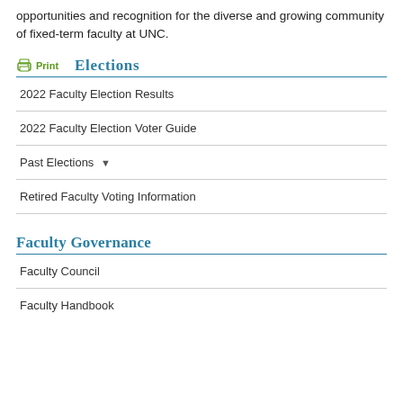opportunities and recognition for the diverse and growing community of fixed-term faculty at UNC.
Elections
2022 Faculty Election Results
2022 Faculty Election Voter Guide
Past Elections
Retired Faculty Voting Information
Faculty Governance
Faculty Council
Faculty Handbook